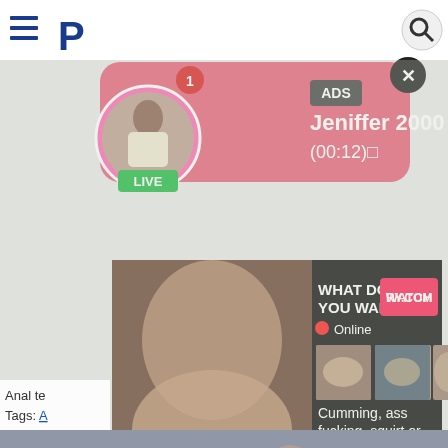[Figure (screenshot): Adult content website screenshot showing advertisements and video thumbnails with explicit content. Contains a navigation bar at top, a live chat popup advertisement for 'Jeniffer 2000', an adult video advertisement popup with 'WHAT DO YOU WANT?' and 'WATCH' button, and video thumbnails of explicit content below.]